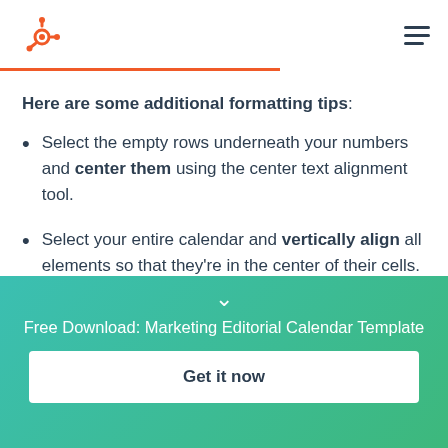HubSpot logo and navigation menu
Here are some additional formatting tips:
Select the empty rows underneath your numbers and center them using the center text alignment tool.
Select your entire calendar and vertically align all elements so that they're in the center of their cells.
Free Download: Marketing Editorial Calendar Template
Get it now